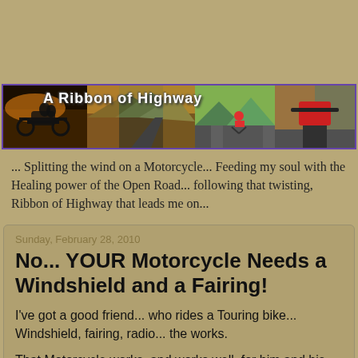[Figure (photo): Blog banner header image showing motorcycle riders on open roads with autumn foliage and mountain scenery, titled 'A Ribbon of Highway']
... Splitting the wind on a Motorcycle... Feeding my soul with the Healing power of the Open Road... following that twisting, Ribbon of Highway that leads me on...
Sunday, February 28, 2010
No... YOUR Motorcycle Needs a Windshield and a Fairing!
I've got a good friend... who rides a Touring bike... Windshield, fairing, radio... the works.
That Motorcycle works, and works well, for him and his